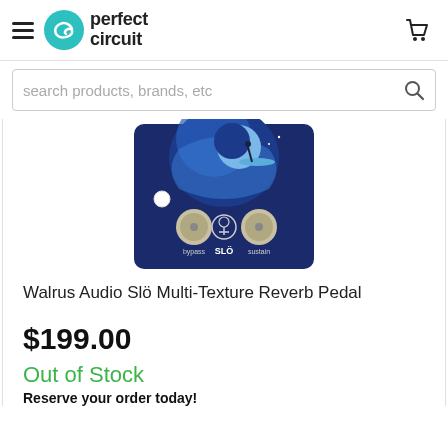perfect circuit
search products, brands, etc
[Figure (photo): Photo of Walrus Audio Slö Multi-Texture Reverb Pedal — a dark blue guitar effects pedal with a moon/night sky illustration, two silver knobs labeled 'bypass' and 'sustain', a center button logo labeled 'SLÖ']
Walrus Audio Slö Multi-Texture Reverb Pedal
$199.00
Out of Stock
Reserve your order today!